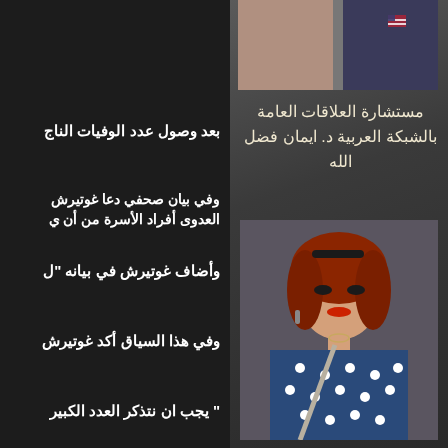[Figure (photo): Top right small photo showing two people]
مستشارة العلاقات العامة بالشبكة العربية د. ايمان فضل الله
[Figure (photo): Portrait photo of a woman with red hair, wearing polka dot dress, sitting in a car]
بعد وصول عدد الوفيات الناج
وفي بيان صحفي دعا غوتيرش العدوى أفراد الأسرة من أن ي
وأضاف غوتيرش في بيانه "ل
وفي هذا السياق أكد غوتيرش
" يجب ان نتذكر العدد الكبير